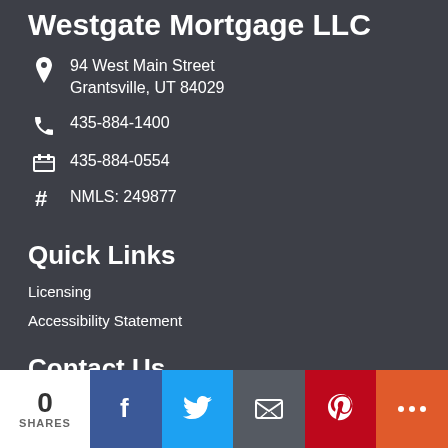Westgate Mortgage LLC
94 West Main Street
Grantsville, UT 84029
435-884-1400
435-884-0554
NMLS: 249877
Quick Links
Licensing
Accessibility Statement
Contact Us
0 SHARES
[Figure (infographic): Social sharing bar with share count (0 SHARES), Facebook, Twitter, Email, Pinterest, and More buttons]